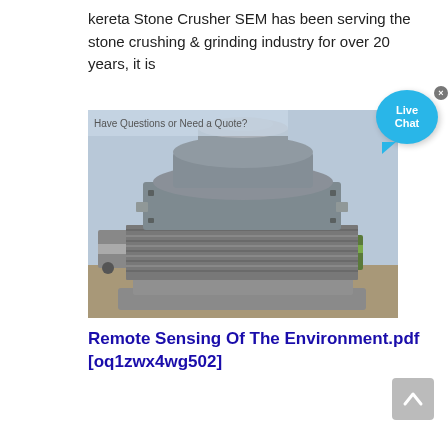kereta Stone Crusher SEM has been serving the stone crushing & grinding industry for over 20 years, it is
[Figure (photo): A large industrial stone crusher machine (cone crusher) photographed outdoors. The machine is painted grey/silver, with heavy spring assemblies and a conical crushing head. A truck and green vehicle are visible in the background.]
Remote Sensing Of The Environment.pdf [oq1zwx4wg502]